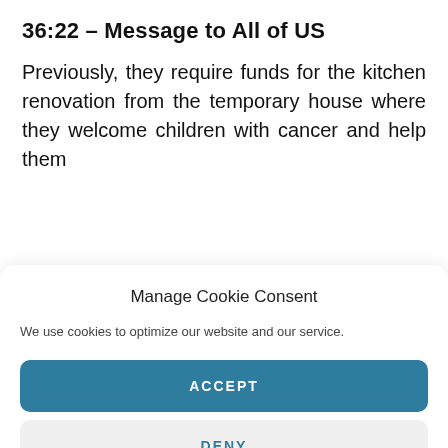36:22 – Message to All of US
Previously, they require funds for the kitchen renovation from the temporary house where they welcome children with cancer and help them
Manage Cookie Consent
We use cookies to optimize our website and our service.
ACCEPT
DENY
PREFERENCES
PRIVACY POLICY   PRIVACY POLICY